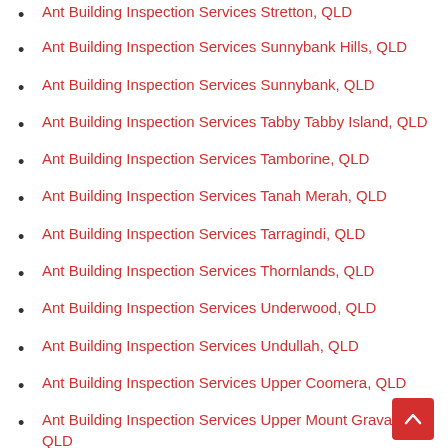Ant Building Inspection Services Stretton, QLD
Ant Building Inspection Services Sunnybank Hills, QLD
Ant Building Inspection Services Sunnybank, QLD
Ant Building Inspection Services Tabby Tabby Island, QLD
Ant Building Inspection Services Tamborine, QLD
Ant Building Inspection Services Tanah Merah, QLD
Ant Building Inspection Services Tarragindi, QLD
Ant Building Inspection Services Thornlands, QLD
Ant Building Inspection Services Underwood, QLD
Ant Building Inspection Services Undullah, QLD
Ant Building Inspection Services Upper Coomera, QLD
Ant Building Inspection Services Upper Mount Gravatt, QLD
Ant Building Inspection Services Victoria Point, QLD